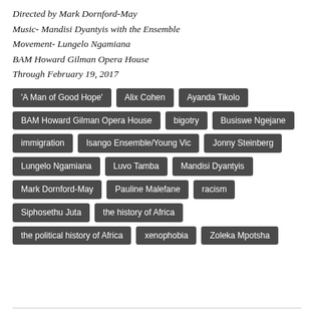Directed by Mark Dornford-May
Music- Mandisi Dyantyis with the Ensemble
Movement- Lungelo Ngamiana
BAM Howard Gilman Opera House
Through February 19, 2017
'A Man of Good Hope'
Alix Cohen
Ayanda Tikolo
BAM Howard Gilman Opera House
bigotry
Busiswe Ngejane
immigration
Isango Ensemble/Young Vic
Jonny Steinberg
Lungelo Ngamiana
Luvo Tamba
Mandisi Dyantyis
Mark Dornford-May
Pauline Malefane
racism
Siphosethu Juta
the history of Africa
the political history of Africa
xenophobia
Zoleka Mpotsha